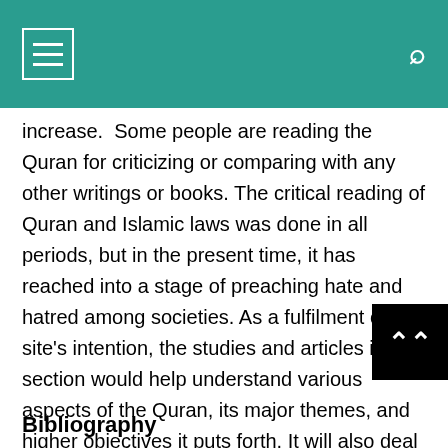increase.  Some people are reading the Quran for criticizing or comparing with any other writings or books. The critical reading of Quran and Islamic laws was done in all periods, but in the present time, it has reached into a stage of preaching hate and hatred among societies. As a fulfilment of this site's intention, the studies and articles in this section would help understand various aspects of the Quran, its major themes, and higher objectives it puts forth. It will also deal with creative and healthy criticism with scholarly engagement
Bibliography